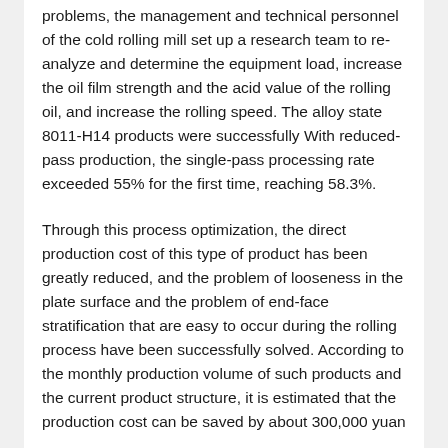problems, the management and technical personnel of the cold rolling mill set up a research team to re-analyze and determine the equipment load, increase the oil film strength and the acid value of the rolling oil, and increase the rolling speed. The alloy state 8011-H14 products were successfully With reduced-pass production, the single-pass processing rate exceeded 55% for the first time, reaching 58.3%.
Through this process optimization, the direct production cost of this type of product has been greatly reduced, and the problem of looseness in the plate surface and the problem of end-face stratification that are easy to occur during the rolling process have been successfully solved. According to the monthly production volume of such products and the current product structure, it is estimated that the production cost can be saved by about 300,000 yuan